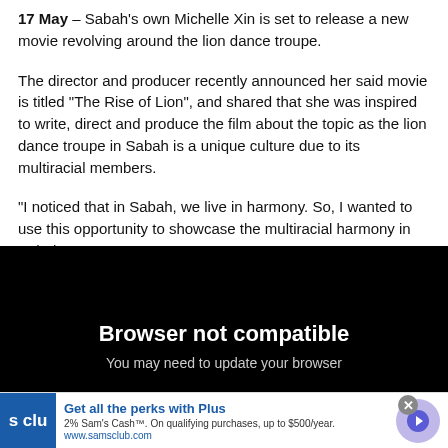17 May – Sabah's own Michelle Xin is set to release a new movie revolving around the lion dance troupe.
The director and producer recently announced her said movie is titled "The Rise of Lion", and shared that she was inspired to write, direct and produce the film about the topic as the lion dance troupe in Sabah is a unique culture due to its multiracial members.
"I noticed that in Sabah, we live in harmony. So, I wanted to use this opportunity to showcase the multiracial harmony in Sabah so
[Figure (screenshot): Black video player overlay showing 'Browser not compatible' message with subtitle 'You may need to update your browser']
[Figure (screenshot): Advertisement banner for Sam's Club 'Get all the perks with Plus' showing 2% Sam's Cash on qualifying purchases up to $500/year, www.samsclub.com]